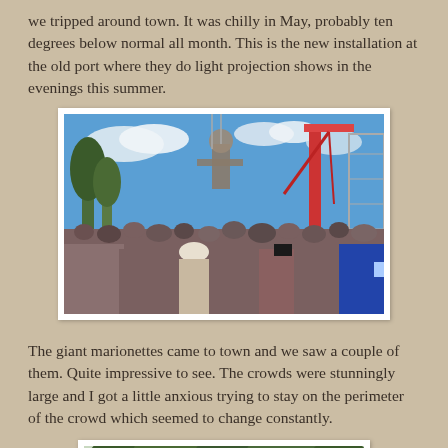we tripped around town. It was chilly in May, probably ten degrees below normal all month. This is the new installation at the old port where they do light projection shows in the evenings this summer.
[Figure (photo): Large crowd gathered around a giant marionette figure being lifted by red cranes against a blue sky with scattered clouds. Trees and flags visible on the left.]
The giant marionettes came to town and we saw a couple of them. Quite impressive to see. The crowds were stunningly large and I got a little anxious trying to stay on the perimeter of the crowd which seemed to change constantly.
[Figure (photo): Partial photo showing trees and rooftops, partially cut off at bottom of page.]